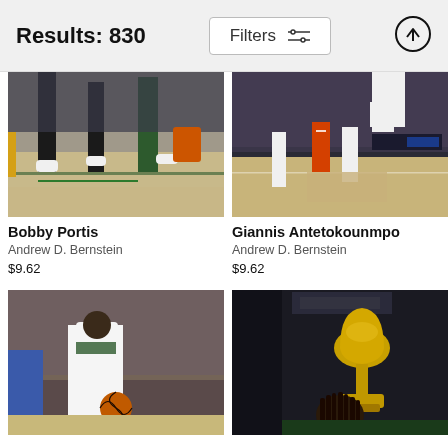Results: 830
Filters
[Figure (photo): Basketball game photo showing players' legs on court near sideline, Milwaukee Bucks game]
Bobby Portis
Andrew D. Bernstein
$9.62
[Figure (photo): Basketball game photo showing Giannis Antetokounmpo dunking over a Phoenix Suns player (#22) in an arena]
Giannis Antetokounmpo
Andrew D. Bernstein
$9.62
[Figure (photo): Milwaukee Bucks player #21 dribbling basketball during game with crowd in background]
[Figure (photo): NBA championship trophy with a person with dreadlocks sitting in foreground]